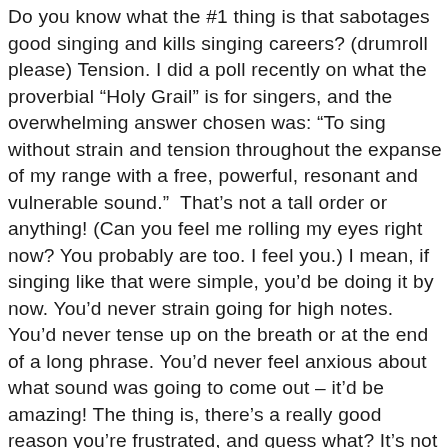Do you know what the #1 thing is that sabotages good singing and kills singing careers? (drumroll please) Tension. I did a poll recently on what the proverbial “Holy Grail” is for singers, and the overwhelming answer chosen was: “To sing without strain and tension throughout the expanse of my range with a free, powerful, resonant and vulnerable sound.”  That’s not a tall order or anything! (Can you feel me rolling my eyes right now? You probably are too. I feel you.) I mean, if singing like that were simple, you’d be doing it by now. You’d never strain going for high notes. You’d never tense up on the breath or at the end of a long phrase. You’d never feel anxious about what sound was going to come out – it’d be amazing! The thing is, there’s a really good reason you’re frustrated, and guess what? It’s not your fault. You just don’t know what you don’t know! Click below to check out this training I did for Backstage Magazine recently: THE SECRET TO SINGING